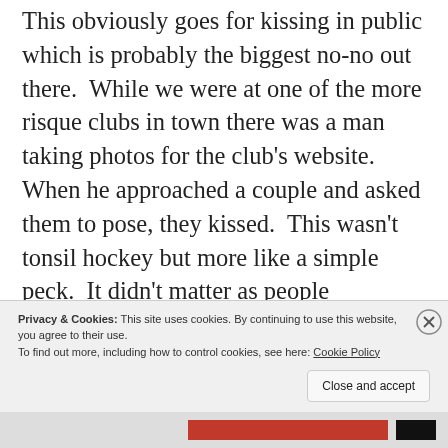This obviously goes for kissing in public which is probably the biggest no-no out there.  While we were at one of the more risque clubs in town there was a man taking photos for the club's website.  When he approached a couple and asked them to pose, they kissed.  This wasn't tonsil hockey but more like a simple peck.  It didn't matter as people everywhere were disgusted.  The man quickly put away his camera and security warned them that this wasn't allowed.  The same goes for holding
Privacy & Cookies: This site uses cookies. By continuing to use this website, you agree to their use.
To find out more, including how to control cookies, see here: Cookie Policy
Close and accept